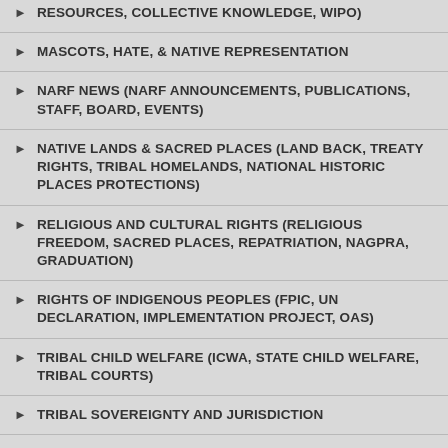RESOURCES, COLLECTIVE KNOWLEDGE, WIPO)
MASCOTS, HATE, & NATIVE REPRESENTATION
NARF NEWS (NARF ANNOUNCEMENTS, PUBLICATIONS, STAFF, BOARD, EVENTS)
NATIVE LANDS & SACRED PLACES (LAND BACK, TREATY RIGHTS, TRIBAL HOMELANDS, NATIONAL HISTORIC PLACES PROTECTIONS)
RELIGIOUS AND CULTURAL RIGHTS (RELIGIOUS FREEDOM, SACRED PLACES, REPATRIATION, NAGPRA, GRADUATION)
RIGHTS OF INDIGENOUS PEOPLES (FPIC, UN DECLARATION, IMPLEMENTATION PROJECT, OAS)
TRIBAL CHILD WELFARE (ICWA, STATE CHILD WELFARE, TRIBAL COURTS)
TRIBAL SOVEREIGNTY AND JURISDICTION
TRUST FUND MATTERS
UNCATEGORIZED